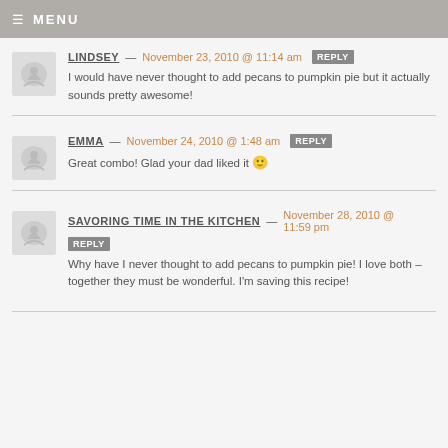≡ MENU
LINDSEY — November 23, 2010 @ 11:14 am REPLY
I would have never thought to add pecans to pumpkin pie but it actually sounds pretty awesome!
EMMA — November 24, 2010 @ 1:48 am REPLY
Great combo! Glad your dad liked it 🙂
SAVORING TIME IN THE KITCHEN — November 28, 2010 @ 11:59 pm REPLY
Why have I never thought to add pecans to pumpkin pie! I love both – together they must be wonderful. I'm saving this recipe!